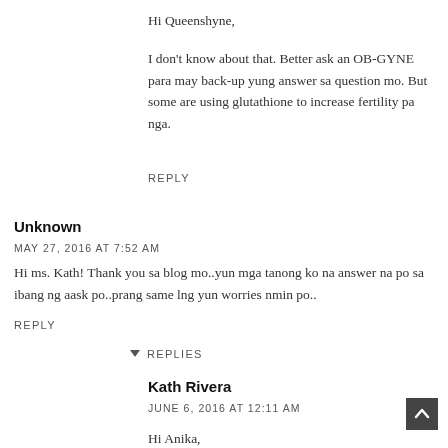Hi Queenshyne,
I don't know about that. Better ask an OB-GYNE para may back-up yung answer sa question mo. But some are using glutathione to increase fertility pa nga.
REPLY
Unknown
MAY 27, 2016 AT 7:52 AM
Hi ms. Kath! Thank you sa blog mo..yun mga tanong ko na answer na po sa ibang ng aask po..prang same lng yun worries nmin po..
REPLY
REPLIES
Kath Rivera
JUNE 6, 2016 AT 12:11 AM
Hi Anika,